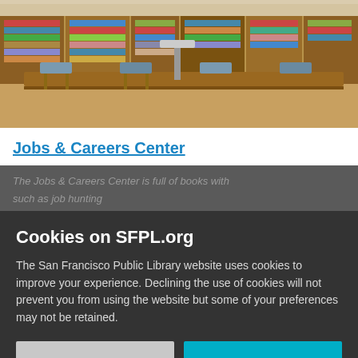[Figure (photo): Interior of a library reading room with wooden tables, chairs, and bookshelves filled with books in the background.]
Jobs & Careers Center
The Jobs & Careers Center is full of books with...such as job hunting...
Cookies on SFPL.org
The San Francisco Public Library website uses cookies to improve your experience. Declining the use of cookies will not prevent you from using the website but some of your preferences may not be retained.
Decline
Accept
cover letters and resumes, how to interview and